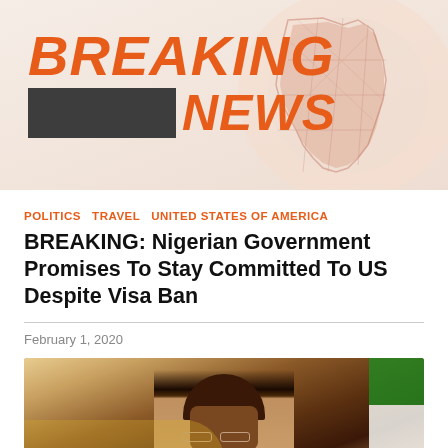[Figure (illustration): Breaking News banner graphic with orange bold italic text 'BREAKING NEWS' overlaid on a stylized Africa map outline on a light pinkish background]
POLITICS   TRAVEL   UNITED STATES OF AMERICA
BREAKING: Nigerian Government Promises To Stay Committed To US Despite Visa Ban
February 1, 2020
[Figure (photo): Photo of a Nigerian government official wearing a dark brown traditional cap and glasses, seated, with a Nigerian flag visible in the background]